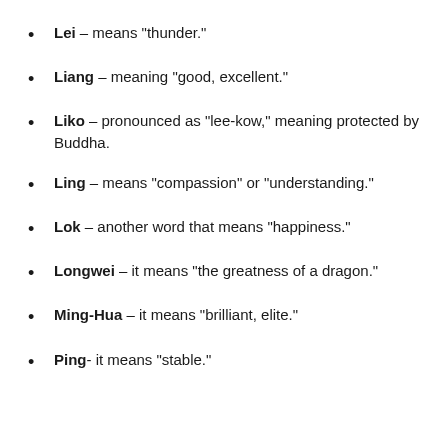Lei – means “thunder.”
Liang – meaning “good, excellent.”
Liko – pronounced as “lee-kow,” meaning protected by Buddha.
Ling – means “compassion” or “understanding.”
Lok – another word that means “happiness.”
Longwei – it means “the greatness of a dragon.”
Ming-Hua – it means “brilliant, elite.”
Ping- it means “stable.”